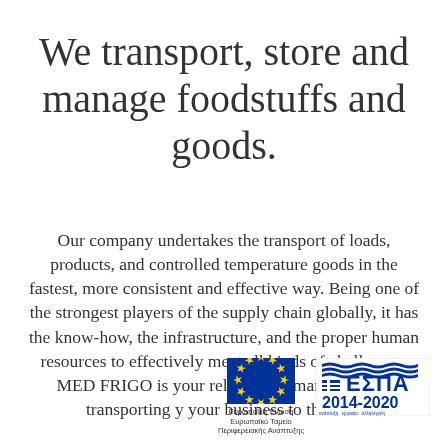We transport, store and manage foodstuffs and goods.
Our company undertakes the transport of loads, products, and controlled temperature goods in the fastest, more consistent and effective way. Being one of the strongest players of the supply chain globally, it has the know-how, the infrastructure, and the proper human resources to effectively meet all kinds of challenges. MED FRIGO is your reliable par managing and transporting y your business to their fin
[Figure (logo): EU flag logo with text 'Ευρωπαϊκή Ένωση, Ευρωπαϊκό Ταμείο Περιφερειακής Ανάπτυξης' and ΕΣΠΑ 2014-2020 logo]